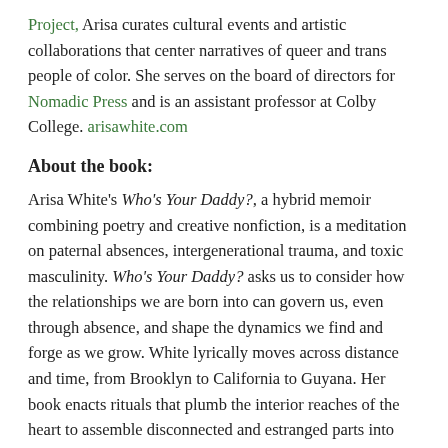Project, Arisa curates cultural events and artistic collaborations that center narratives of queer and trans people of color. She serves on the board of directors for Nomadic Press and is an assistant professor at Colby College. arisawhite.com
About the book:
Arisa White's Who's Your Daddy?, a hybrid memoir combining poetry and creative nonfiction, is a meditation on paternal absences, intergenerational trauma, and toxic masculinity. Who's Your Daddy? asks us to consider how the relationships we are born into can govern us, even through absence, and shape the dynamics we find and forge as we grow. White lyrically moves across distance and time, from Brooklyn to California to Guyana. Her book enacts rituals that plumb the interior reaches of the heart to assemble disconnected and estranged parts into something whole, tender, and strong.
Posted in Arisa White, Augury Books, Awards, Brooklyn, Creative Nonfiction, Creative Writing, Poetry, Publishing, t'ai freedom ford, Uncategorized